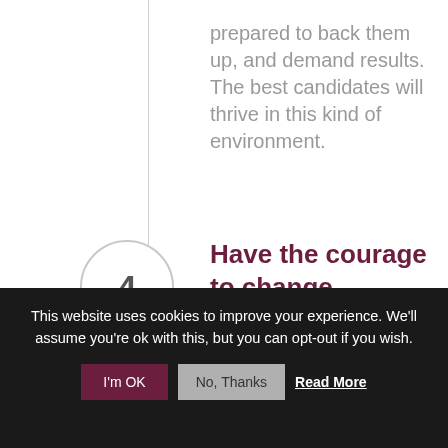prepared to back them up, and demand results. The best candidates will thrive in this kind of environment.
4
Have the courage to change.
Traditional legal marketing tactics are quickly losing relevance. Firms should
This website uses cookies to improve your experience. We'll assume you're ok with this, but you can opt-out if you wish.
I'm OK | No, Thanks | Read More